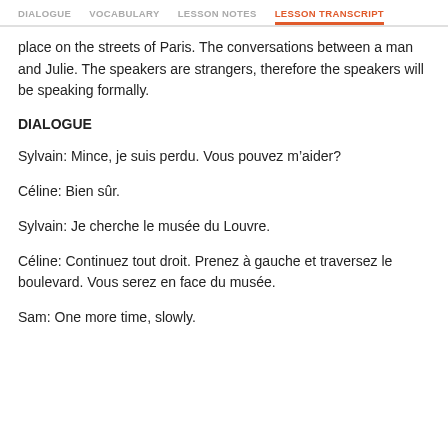DIALOGUE   VOCABULARY   LESSON NOTES   LESSON TRANSCRIPT
place on the streets of Paris. The conversations between a man and Julie. The speakers are strangers, therefore the speakers will be speaking formally.
DIALOGUE
Sylvain: Mince, je suis perdu. Vous pouvez m’aider?
Céline: Bien sûr.
Sylvain: Je cherche le musée du Louvre.
Céline: Continuez tout droit. Prenez à gauche et traversez le boulevard. Vous serez en face du musée.
Sam: One more time, slowly.